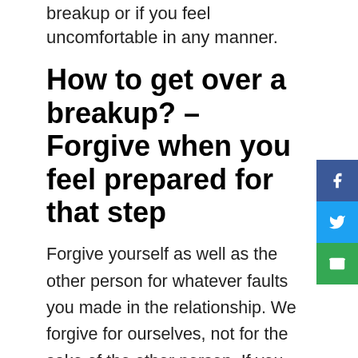breakup or if you feel uncomfortable in any manner.
How to get over a breakup? – Forgive when you feel prepared for that step
Forgive yourself as well as the other person for whatever faults you made in the relationship. We forgive for ourselves, not for the sake of the other person. If you and your ex both want to be friends, letting go of your resentment will help you discover that connection. It will, above all, assist you in progressing. How to get over a breakup may be a long process, but it's on you if you want